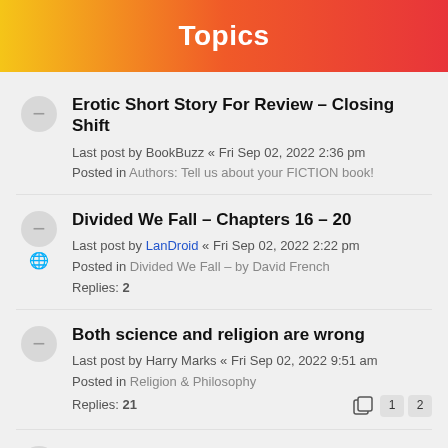Topics
Erotic Short Story For Review – Closing Shift
Last post by BookBuzz « Fri Sep 02, 2022 2:36 pm
Posted in Authors: Tell us about your FICTION book!
Divided We Fall – Chapters 16 – 20
Last post by LanDroid « Fri Sep 02, 2022 2:22 pm
Posted in Divided We Fall – by David French
Replies: 2
Both science and religion are wrong
Last post by Harry Marks « Fri Sep 02, 2022 9:51 am
Posted in Religion & Philosophy
Replies: 21
Blood Meridian – Cormac McCarthy
Last post by Harry Marks « Fri Sep 02, 2022 9:38 am
Posted in Fiction General Discussion
Replies: 1